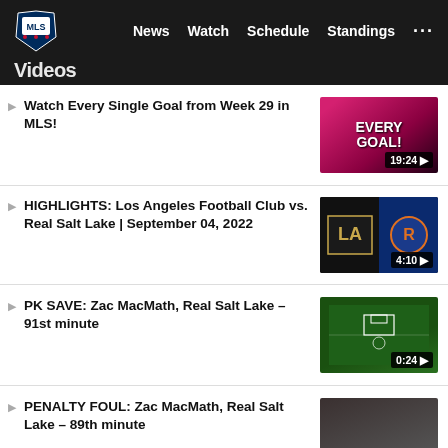MLS — News  Watch  Schedule  Standings  ...
Watch Every Single Goal from Week 29 in MLS!
HIGHLIGHTS: Los Angeles Football Club vs. Real Salt Lake | September 04, 2022
PK SAVE: Zac MacMath, Real Salt Lake – 91st minute
PENALTY FOUL: Zac MacMath, Real Salt Lake – 89th minute